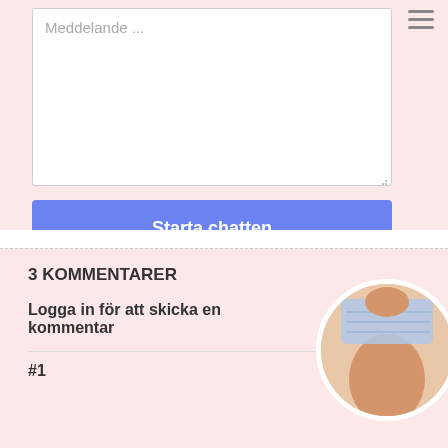Meddelande ...
Starta chatten
3 KOMMENTARER
Logga in för att skicka en kommentar
#1